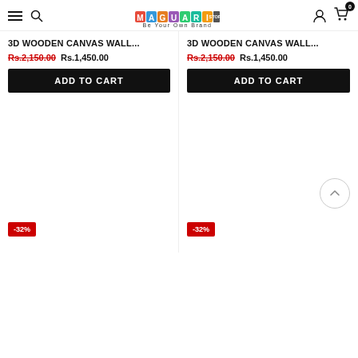Maguari Store - Be Your Own Brand
3D WOODEN CANVAS WALL...
Rs.2,150.00 Rs.1,450.00
ADD TO CART
3D WOODEN CANVAS WALL...
Rs.2,150.00 Rs.1,450.00
ADD TO CART
[Figure (screenshot): Product card with -32% discount badge, bottom row]
[Figure (screenshot): Product card with -32% discount badge, bottom row, with back-to-top chevron button]